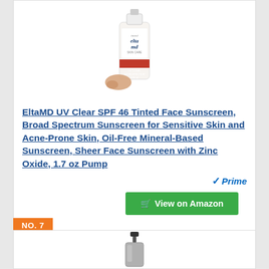[Figure (photo): EltaMD UV Clear SPF 46 Tinted Face Sunscreen product bottle with pump dispenser and tinted sunscreen swatch]
EltaMD UV Clear SPF 46 Tinted Face Sunscreen, Broad Spectrum Sunscreen for Sensitive Skin and Acne-Prone Skin, Oil-Free Mineral-Based Sunscreen, Sheer Face Sunscreen with Zinc Oxide, 1.7 oz Pump
Prime
View on Amazon
NO. 7
[Figure (photo): Product bottle with black pump dispenser, bottom portion visible]